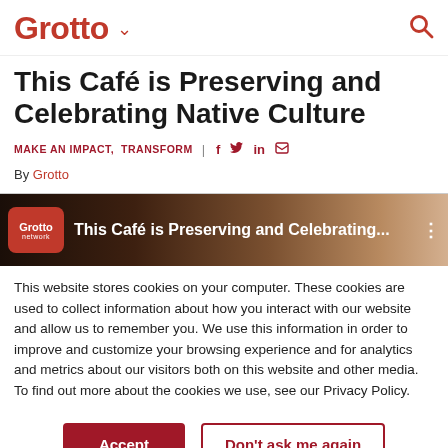Grotto
This Café is Preserving and Celebrating Native Culture
MAKE AN IMPACT,  TRANSFORM | f  y  in  ✉
By Grotto
[Figure (screenshot): Video thumbnail showing Grotto network logo and title 'This Café is Preserving and Celebrating...']
This website stores cookies on your computer. These cookies are used to collect information about how you interact with our website and allow us to remember you. We use this information in order to improve and customize your browsing experience and for analytics and metrics about our visitors both on this website and other media. To find out more about the cookies we use, see our Privacy Policy.
Accept | Don't ask me again